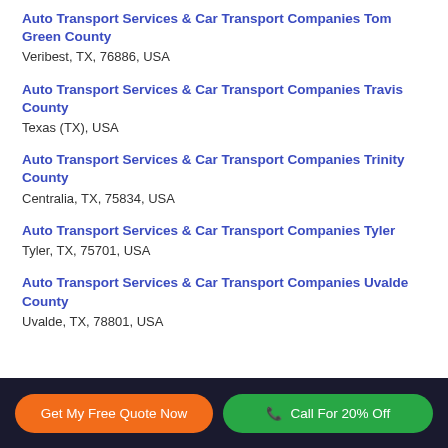Auto Transport Services & Car Transport Companies Tom Green County
Veribest, TX, 76886, USA
Auto Transport Services & Car Transport Companies Travis County
Texas (TX), USA
Auto Transport Services & Car Transport Companies Trinity County
Centralia, TX, 75834, USA
Auto Transport Services & Car Transport Companies Tyler
Tyler, TX, 75701, USA
Auto Transport Services & Car Transport Companies Uvalde County
Uvalde, TX, 78801, USA
Get My Free Quote Now | Call For 20% Off